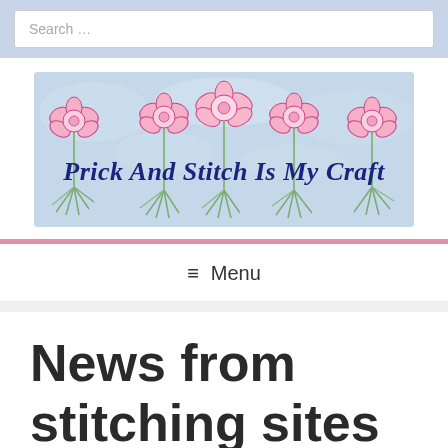Search ...
[Figure (illustration): Blog header banner with pink flowers on a light blue background and cursive text reading 'Prick And Stitch Is My Craft']
≡ Menu
News from stitching sites